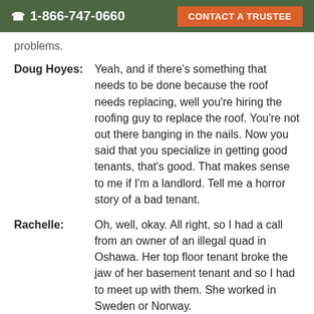1-866-747-0660  CONTACT A TRUSTEE
problems.
Doug Hoyes:  Yeah, and if there's something that needs to be done because the roof needs replacing, well you're hiring the roofing guy to replace the roof. You're not out there banging in the nails. Now you said that you specialize in getting good tenants, that's good. That makes sense to me if I'm a landlord. Tell me a horror story of a bad tenant.
Rachelle:  Oh, well, okay. All right, so I had a call from an owner of an illegal quad in Oshawa. Her top floor tenant broke the jaw of her basement tenant and so I had to meet up with them. She worked in Sweden or Norway.
Doug Hoyes:  This is the landlord you're talking about?